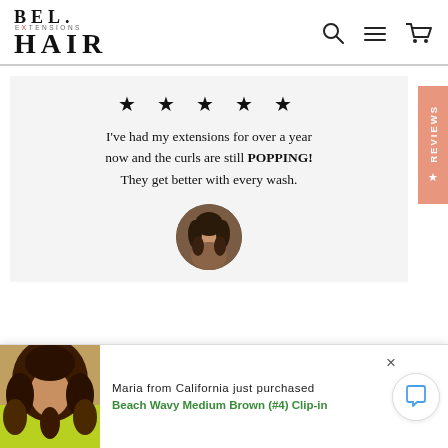[Figure (logo): Bel Hair Extensions logo with BEL text above and HAIR text below, with EXTENSIONS in small letters]
[Figure (other): Navigation icons: search magnifier, hamburger menu, shopping cart]
★ ★ ★ ★ ★
I've had my extensions for over a year now and the curls are still POPPING! They get better with every wash.
[Figure (photo): Circular profile photo of a woman with curly dark hair]
REVIEWS
[Figure (photo): Photo of a woman with curly brown hair wearing a bright yellow-green top]
Maria from California just purchased
Beach Wavy Medium Brown (#4) Clip-in